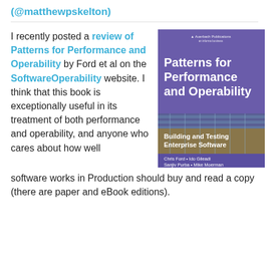(@matthewpskelton)
I recently posted a review of Patterns for Performance and Operability by Ford et al on the SoftwareOperability website. I think that this book is exceptionally useful in its treatment of both performance and operability, and anyone who cares about how well software works in Production should buy and read a copy (there are paper and eBook editions).
[Figure (photo): Book cover of 'Patterns for Performance and Operability: Building and Testing Enterprise Software' by Chris Ford, Ido Gileadi, Sanjiv Purba, Mike Moerman. Published by Auerbach Publications. Cover shows a purple top section with white title text, an orange/gold band with subtitle, and a modern building facade at bottom.]